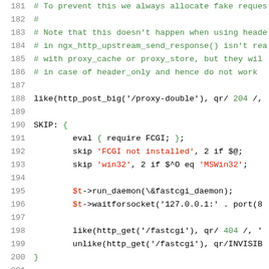Code listing lines 181-201, Perl/nginx test script showing comment lines 181-186, like() call on line 188, SKIP block lines 190-200 with eval, skip, run_daemon, waitforsocket, like, unlike calls